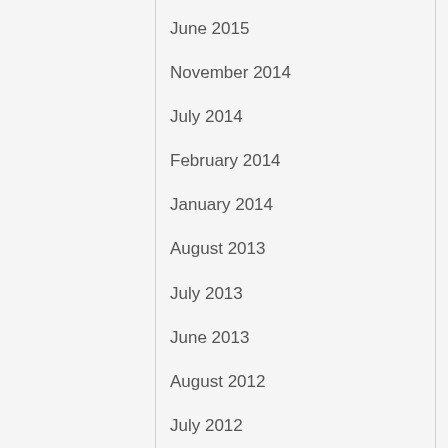June 2015
November 2014
July 2014
February 2014
January 2014
August 2013
July 2013
June 2013
August 2012
July 2012
June 2012